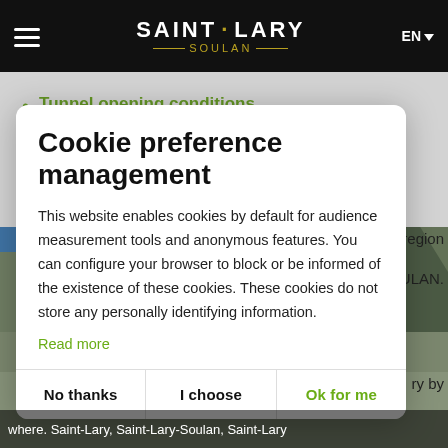SAINT·LARY SOULAN — EN
Tunnel opening conditions
Winter traffic reports
Cookie preference management
This website enables cookies by default for audience measurement tools and anonymous features. You can configure your browser to block or be informed of the existence of these cookies. These cookies do not store any personally identifying information.
Read more
No thanks
I choose
Ok for me